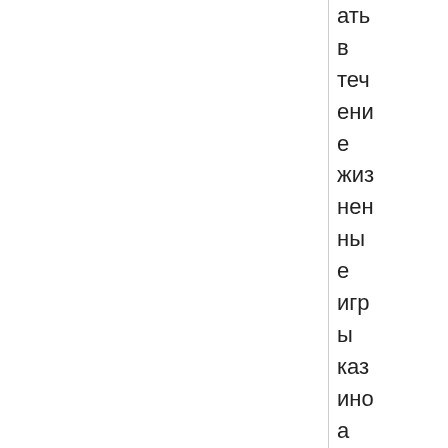ать в течение жизненные игры казино а также покер. Зарегистр